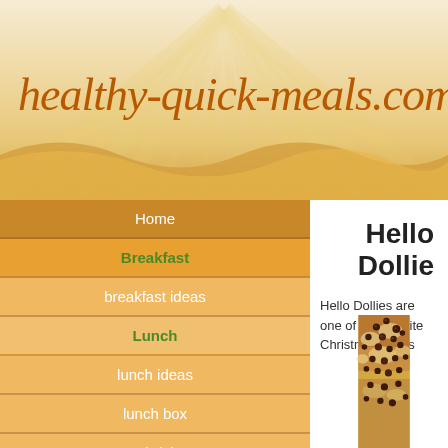healthy-quick-meals.com
Home
Breakfast
breakfast ideas
Lunch
lunch ideas
lunch box
sandwiches
Dinner
beans
beef
Hello Dollie
Hello Dollies are one of my favorite Christmas treats
[Figure (photo): Close-up photo of Hello Dollies bars with chocolate chips on top of a coconut and graham cracker crust base]